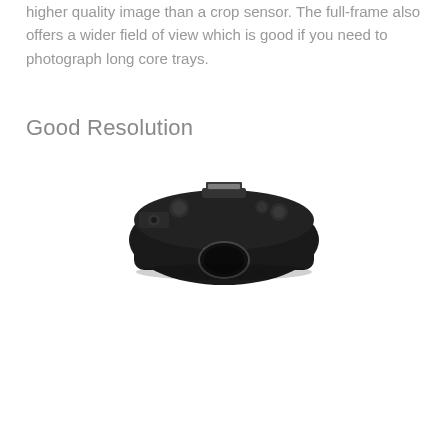higher quality image than a crop sensor. The full-frame also offers a wider field of view which is good if you need to photograph long core trays.
Good Resolution
[Figure (photo): Top-down view of a Canon DSLR camera body, showing the top hotshoe and camera controls, dark black body with Canon branding visible]